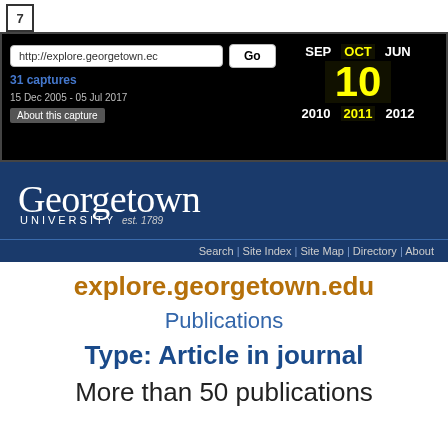[Figure (screenshot): Wayback Machine browser interface showing URL bar with http://explore.georgetown.ec, Go button, 31 captures (15 Dec 2005 - 05 Jul 2017), calendar showing OCT 10 2011 highlighted in yellow, with SEP 2010 and JUN 2012 flanking]
[Figure (screenshot): Georgetown University website header with logo, est. 1789, navy blue background, navigation links: Search | Site Index | Site Map | Directory | About]
explore.georgetown.edu
Publications
Type: Article in journal
More than 50 publications